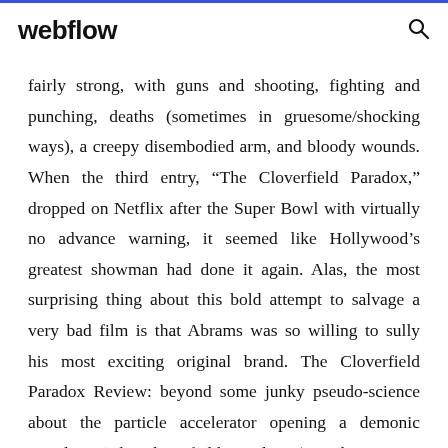webflow
fairly strong, with guns and shooting, fighting and punching, deaths (sometimes in gruesome/shocking ways), a creepy disembodied arm, and bloody wounds. When the third entry, “The Cloverfield Paradox,” dropped on Netflix after the Super Bowl with virtually no advance warning, it seemed like Hollywood’s greatest showman had done it again. Alas, the most surprising thing about this bold attempt to salvage a very bad film is that Abrams was so willing to sully his most exciting original brand. The Cloverfield Paradox Review: beyond some junky pseudo-science about the particle accelerator opening a demonic portal via "The Cloverfield Paradox" (yes, this movie